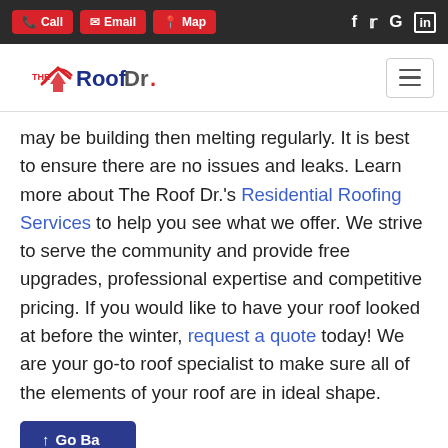Call | Email | Map | Facebook | Twitter | Google | LinkedIn
[Figure (logo): The Roof Dr. logo with red roof and swoosh graphic, hamburger menu button on right]
may be building then melting regularly. It is best to ensure there are no issues and leaks. Learn more about The Roof Dr.'s Residential Roofing Services to help you see what we offer. We strive to serve the community and provide free upgrades, professional expertise and competitive pricing. If you would like to have your roof looked at before the winter, request a quote today! We are your go-to roof specialist to make sure all of the elements of your roof are in ideal shape.